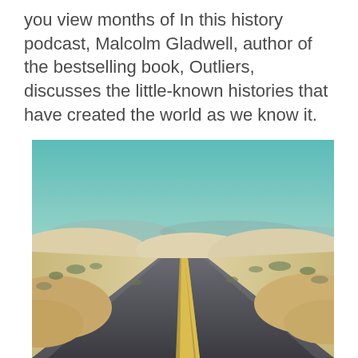you view months of In this history podcast, Malcolm Gladwell, author of the bestselling book, Outliers, discusses the little-known histories that have created the world as we know it.
[Figure (photo): A vintage-toned photograph of a long, empty two-lane road winding through a desert landscape with white sand dunes, sparse desert shrubs, distant mountains, and a teal-blue sky.]